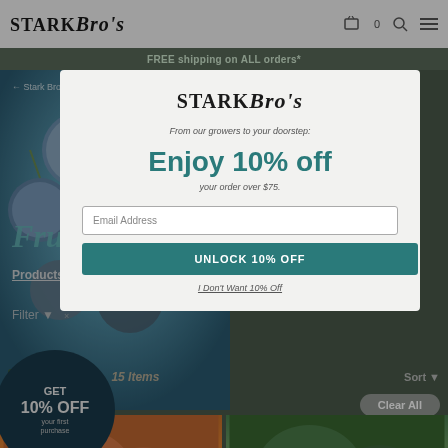[Figure (screenshot): Stark Bro's website screenshot showing navigation bar with logo, cart icon, search icon, and hamburger menu, with blueberry photo and promotional banner in background, partially obscured by a modal popup offering 10% off]
STARK Bro's
FREE shipping on ALL orders*
Fruit Trees
Products   Buyer's Guide
Filter ▼
GET 10% OFF your first purchase
STARK Bro's
From our growers to your doorstep:
Enjoy 10% off
your order over $75.
Email Address
UNLOCK 10% OFF
I Don't Want 10% Off
15 Items
Sort ▼
Self-Pollinating Pea
Clear All